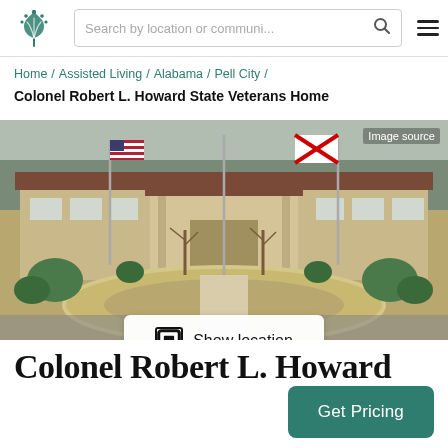Search by location or communi...
Home / Assisted Living / Alabama / Pell City / Colonel Robert L. Howard State Veterans Home
[Figure (photo): Exterior photo of Colonel Robert L. Howard State Veterans Home building with American and Alabama flags, circular driveway, and landscaping. Overlay button reads 'Show location'.]
Colonel Robert L. Howard
Get Pricing